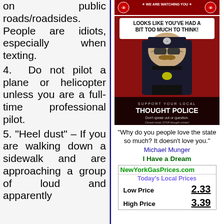on public roads/roadsides. People are idiots, especially when texting.
4. Do not pilot a plane or helicopter unless you are a full-time professional pilot.
5. "Heel dust" – If you are walking down a sidewalk and are approaching a group of loud and apparently
[Figure (illustration): Red banner with 'We Are Watching You' surveillance theme graphic]
[Figure (illustration): Propaganda-style poster showing a police officer in uniform with text: 'LOOKS LIKE YOU'VE HAD A BIT TOO MUCH TO THINK! SUPPORT YOUR LOCAL THOUGHT POLICE Don't speak out or question. Closed minds STOP thought crimes!']
"Why do you people love the state so much? It doesn't love you."
Michael Munger
I Have a Dream
| NewYorkGasPrices.com | Today's Local Prices |
| --- | --- |
| Low Price | 2.33 |
| High Price | 3.39 |